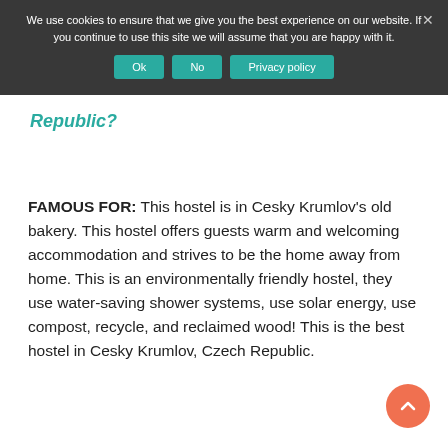We use cookies to ensure that we give you the best experience on our website. If you continue to use this site we will assume that you are happy with it.
Ok  No  Privacy policy
Republic?
FAMOUS FOR: This hostel is in Cesky Krumlov's old bakery. This hostel offers guests warm and welcoming accommodation and strives to be the home away from home. This is an environmentally friendly hostel, they use water-saving shower systems, use solar energy, use compost, recycle, and reclaimed wood! This is the best hostel in Cesky Krumlov, Czech Republic.